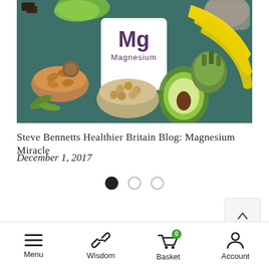[Figure (photo): Photo of magnesium-rich foods including almonds, hazelnuts, chickpeas, bananas, avocado, artichoke, dark chocolate, lettuce, chia seeds, with a periodic table card showing Mg Magnesium in the center, arranged on a teal surface.]
Steve Bennetts Healthier Britain Blog: Magnesium Miracle
December 1, 2017
[Figure (other): Carousel pagination dots: one filled black dot and two empty/outline dots]
[Figure (other): Scroll-to-top button with upward chevron arrow]
Menu  Wisdom  Basket  Account